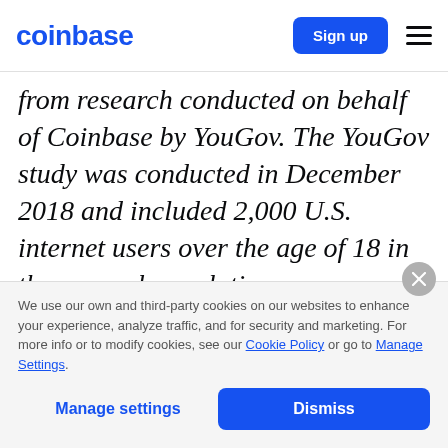coinbase | Sign up
from research conducted on behalf of Coinbase by YouGov. The YouGov study was conducted in December 2018 and included 2,000 U.S. internet users over the age of 18 in the general population.
We use our own and third-party cookies on our websites to enhance your experience, analyze traffic, and for security and marketing. For more info or to modify cookies, see our Cookie Policy or go to Manage Settings.
Manage settings | Dismiss